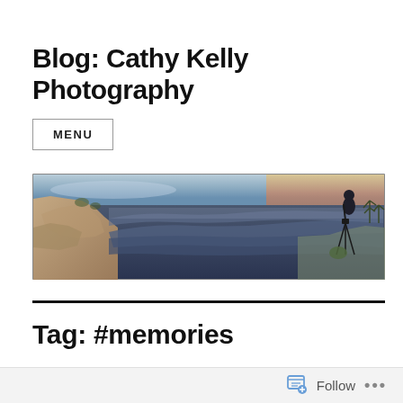Blog: Cathy Kelly Photography
MENU
[Figure (photo): Panoramic photo of Grand Canyon at sunset/sunrise, with a photographer standing on rocks at right side using a tripod, dramatic canyon landscape with warm orange and blue sky.]
Tag: #memories
Follow ...